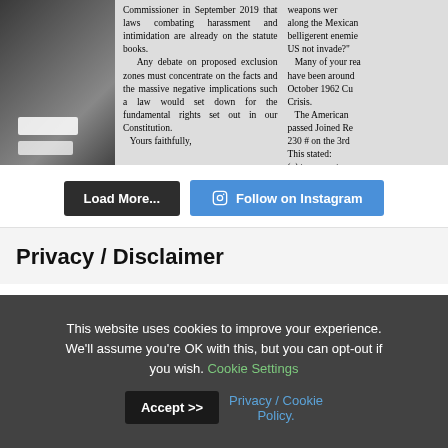[Figure (photo): Newspaper clipping showing two columns of text alongside a photo of a person. Left column discusses exclusion zones, harassment laws, constitution. Right column discusses Mexican border, belligerent enemies, Cuban Crisis, American Joined Resolution.]
Load More...
Follow on Instagram
Privacy / Disclaimer
This website uses cookies to improve your experience. We'll assume you're OK with this, but you can opt-out if you wish. Cookie Settings Accept >> Privacy / Cookie Policy.